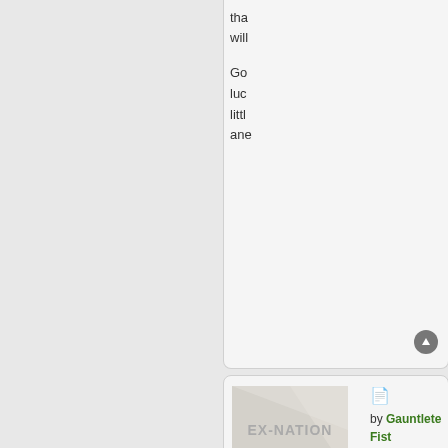tha will Go luc littl ane
[Figure (screenshot): Forum post by Gauntleted Fist, Postmaster-General. Avatar shows EX-NATION logo. Posts: 10061, Founded: Aug 17, 2008, Ex-Nation. Post timestamp: Thu Jul 15, 2010 1:05 am.]
by Gauntleted Fist » Thu Jul 15, 2010 1:05 am
Gauntleted Fist
Postmaster-General
Posts: 10061
Founded: Aug 17, 2008
Ex-Nation